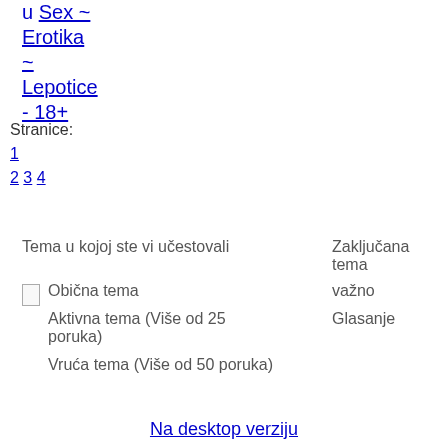u Sex ~ Erotika ~ Lepotice - 18+
Stranice:
1
2 3 4
Tema u kojoj ste vi učestovali	Zaključana tema
Obična tema	Važno
Aktivna tema (Više od 25 poruka)	Glasanje
Vruća tema (Više od 50 poruka)
Na desktop verziju